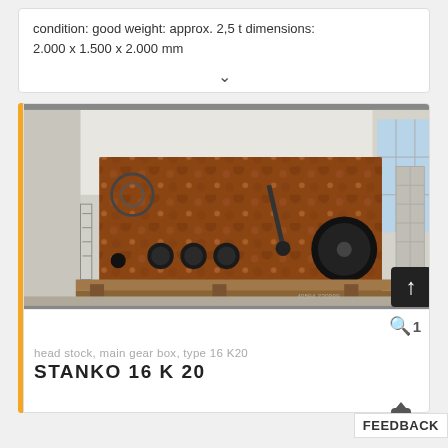condition: good weight: approx. 2,5 t dimensions: 2.000 x 1.500 x 2.000 mm
[Figure (photo): Photograph of a head stock / main gear box machine (type 16 K20, STANKO 16 K20), a large rusty industrial gearbox on a wooden pallet in an indoor warehouse setting.]
head stock, main gear box, type 16 K20
STANKO 16 K20